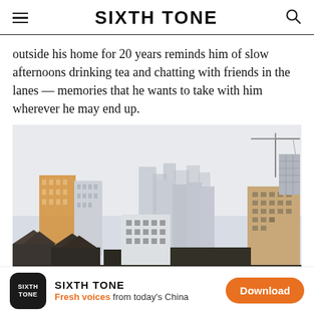SIXTH TONE
outside his home for 20 years reminds him of slow afternoons drinking tea and chatting with friends in the lanes — memories that he wants to take with him wherever he may end up.
[Figure (photo): Urban skyline photograph showing a mix of old low-rise rooftops in the foreground and modern high-rise apartment and commercial buildings in the background, with a construction crane visible at the top right. Hazy sky with muted colors suggesting an overcast day.]
SIXTH TONE — Fresh voices from today's China — Download